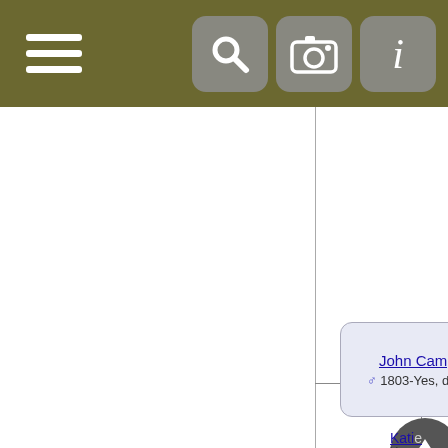[Figure (screenshot): Genealogy application screenshot showing a toolbar with hamburger menu, search, camera, and info buttons; zoom controls; and a family tree view with a partially visible person card for 'John Camph...' (male, 1803-Yes, date u...) and a partially visible card for 'Katie' (female, Yes, u...) with a vertical branch connector and an up-arrow navigation button.]